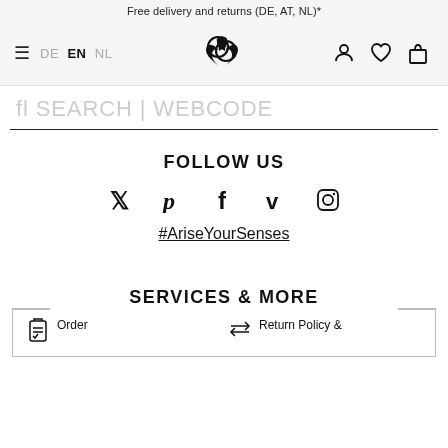Free delivery and returns (DE, AT, NL)*
[Figure (screenshot): Navigation bar with hamburger menu, language switcher (DE EN NL), logo (interlinked hearts/leaves), user/wishlist/cart icons]
fl SEARCH | WEBCODE
FOLLOW US
[Figure (infographic): Social media icons row: Twitter, Pinterest, Facebook, Vimeo, Instagram]
#AriseYourSenses
SERVICES & MORE
Order
Return Policy &